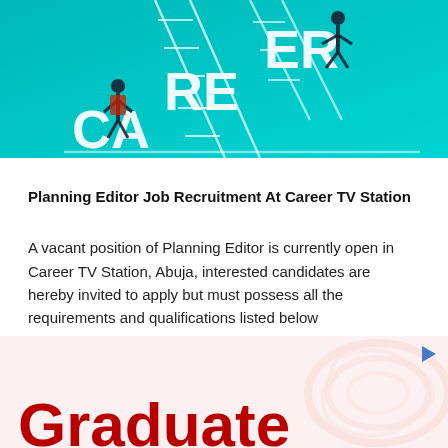[Figure (illustration): Decorative illustration showing the word CAREER spelled vertically/diagonally with business people climbing ladders between letters, on a teal/cyan background]
Planning Editor Job Recruitment At Career TV Station
A vacant position of Planning Editor is currently open in Career TV Station, Abuja, interested candidates are hereby invited to apply but must possess all the requirements and qualifications listed below
[Figure (infographic): Advertisement banner with pink/light red background showing partial text 'Graduate' in large dark red bold font, with decorative watermark pattern and an arrow/play icon in top right]